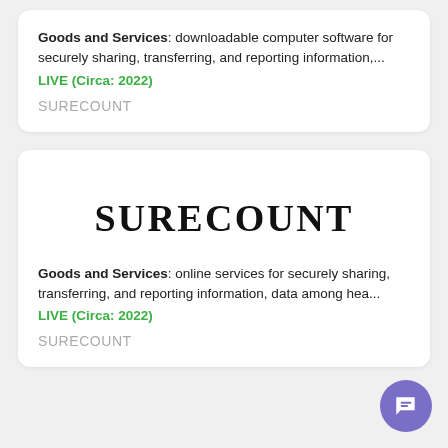Goods and Services: downloadable computer software for securely sharing, transferring, and reporting information,...
LIVE (Circa: 2022)
SURECOUNT
[Figure (logo): SURECOUNT trademark logo in large serif font]
Goods and Services: online services for securely sharing, transferring, and reporting information, data among hea...
LIVE (Circa: 2022)
SURECOUNT